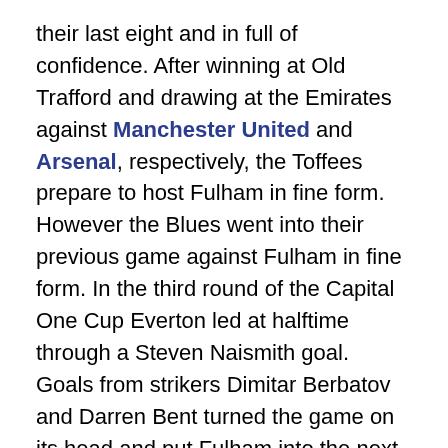their last eight and in full of confidence. After winning at Old Trafford and drawing at the Emirates against Manchester United and Arsenal, respectively, the Toffees prepare to host Fulham in fine form. However the Blues went into their previous game against Fulham in fine form. In the third round of the Capital One Cup Everton led at halftime through a Steven Naismith goal. Goals from strikers Dimitar Berbatov and Darren Bent turned the game on its head and put Fulham into the next round of the League Cup.
Last season the Blues almost pulled off the exact opposite result at Craven Cottage last season when Marouane Fellaini's double had earned Everton the lead only to be foiled by Steve Sidwell's goal in the 89th minute for a 2-2 draw. In the return fixture at Goodison, Steven Pienaar's 15th minute goal ensured that there